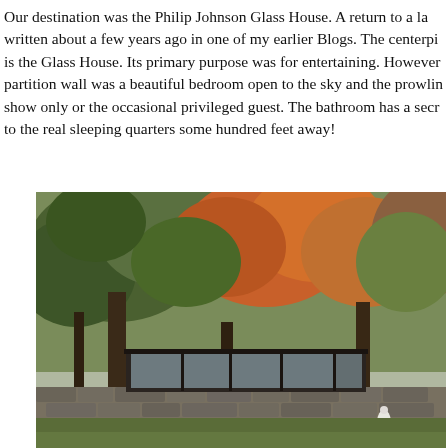Our destination was the Philip Johnson Glass House. A return to a la written about a few years ago in one of my earlier Blogs. The centerpi is the Glass House. Its primary purpose was for entertaining. However partition wall was a beautiful bedroom open to the sky and the prowlin show only or the occasional privileged guest. The bathroom has a secr to the real sleeping quarters some hundred feet away!
[Figure (photo): Exterior photograph of the Philip Johnson Glass House surrounded by large trees with autumn foliage in shades of orange, red, and green. A low stone wall runs in the foreground, with the modernist glass and steel structure visible behind it. A white figure (person or animal) stands on the lawn to the right.]